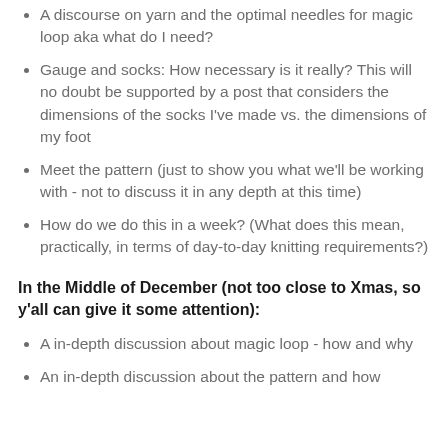A discourse on yarn and the optimal needles for magic loop aka what do I need?
Gauge and socks: How necessary is it really? This will no doubt be supported by a post that considers the dimensions of the socks I've made vs. the dimensions of my foot
Meet the pattern (just to show you what we'll be working with - not to discuss it in any depth at this time)
How do we do this in a week? (What does this mean, practically, in terms of day-to-day knitting requirements?)
In the Middle of December (not too close to Xmas, so y'all can give it some attention):
A in-depth discussion about magic loop - how and why
An in-depth discussion about the pattern and how